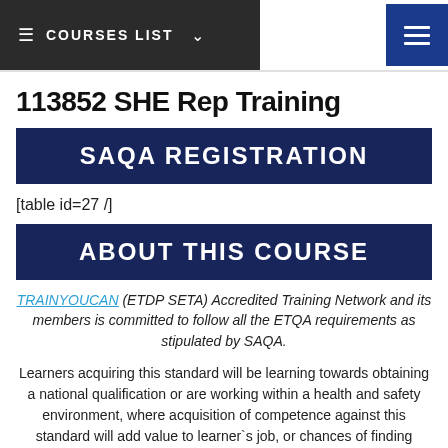COURSES LIST
113852 SHE Rep Training
SAQA REGISTRATION
[table id=27 /]
ABOUT THIS COURSE
TRAINYOUCAN (ETDP SETA) Accredited Training Network and its members is committed to follow all the ETQA requirements as stipulated by SAQA.
Learners acquiring this standard will be learning towards obtaining a national qualification or are working within a health and safety environment, where acquisition of competence against this standard will add value to learner`s job, or chances of finding employment.